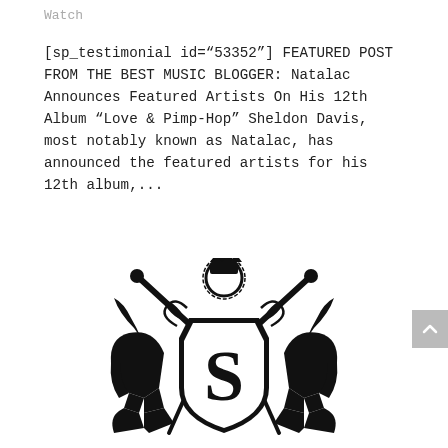Watch
[sp_testimonial id="53352"] FEATURED POST FROM THE BEST MUSIC BLOGGER: Natalac Announces Featured Artists On His 12th Album “Love & Pimp-Hop” Sheldon Davis, most notably known as Natalac, has announced the featured artists for his 12th album,...
[Figure (logo): Black heraldic logo featuring a shield with letter S, flanked by two Spartan/Roman helmet figures, two crossed swords behind, and a crown with fleur-de-lis at top.]